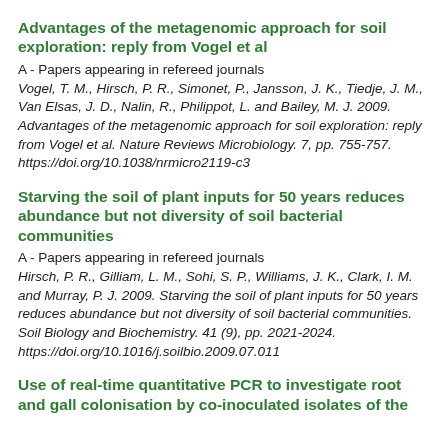Advantages of the metagenomic approach for soil exploration: reply from Vogel et al
A - Papers appearing in refereed journals
Vogel, T. M., Hirsch, P. R., Simonet, P., Jansson, J. K., Tiedje, J. M., Van Elsas, J. D., Nalin, R., Philippot, L. and Bailey, M. J. 2009. Advantages of the metagenomic approach for soil exploration: reply from Vogel et al. Nature Reviews Microbiology. 7, pp. 755-757. https://doi.org/10.1038/nrmicro2119-c3
Starving the soil of plant inputs for 50 years reduces abundance but not diversity of soil bacterial communities
A - Papers appearing in refereed journals
Hirsch, P. R., Gilliam, L. M., Sohi, S. P., Williams, J. K., Clark, I. M. and Murray, P. J. 2009. Starving the soil of plant inputs for 50 years reduces abundance but not diversity of soil bacterial communities. Soil Biology and Biochemistry. 41 (9), pp. 2021-2024. https://doi.org/10.1016/j.soilbio.2009.07.011
Use of real-time quantitative PCR to investigate root and gall colonisation by co-inoculated isolates of the